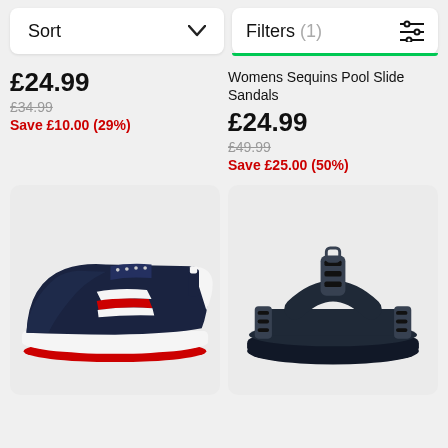[Figure (screenshot): Sort button with dropdown chevron and Filters (1) button with green underline indicator and sliders icon, top navigation bar]
£24.99
£34.99
Save £10.00 (29%)
Womens Sequins Pool Slide Sandals
£24.99
£49.99
Save £25.00 (50%)
[Figure (photo): Navy blue platform sneaker with red and white stripe on side, white and red sole, on light grey background]
[Figure (photo): Navy blue strappy sandals with velcro buckle straps and thick flat sole, on light grey background]